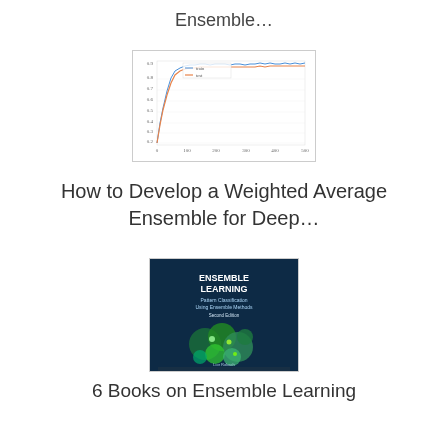Ensemble…
[Figure (continuous-plot): Line chart showing two curves (train and test) rising steeply then leveling off, with x-axis ~0 to 500 and y-axis ~0.1 to 0.9]
How to Develop a Weighted Average Ensemble for Deep…
[Figure (photo): Book cover: ENSEMBLE LEARNING – Pattern Classification Using Ensemble Methods, Second Edition, by Lior Rokach. Dark cover with molecule/biology imagery, World Scientific publisher.]
6 Books on Ensemble Learning